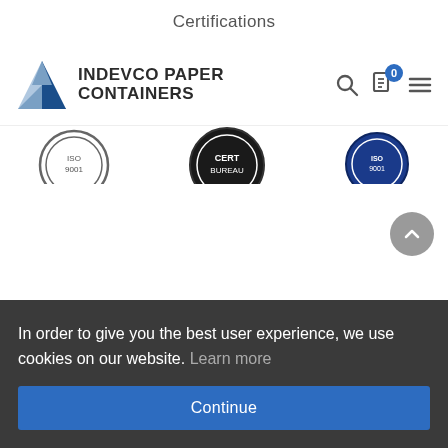Certifications
[Figure (logo): Indevco Paper Containers logo with blue geometric diamond/triangle icon and company name in bold dark letters. Navigation bar with search icon, cart icon with badge 0, and hamburger menu.]
[Figure (other): Partial certification badge strip showing ISO9001 circular badge on left, a dark circular badge in center (partially visible), and another circular badge on right (partially cut off).]
In order to give you the best user experience, we use cookies on our website. Learn more
Continue